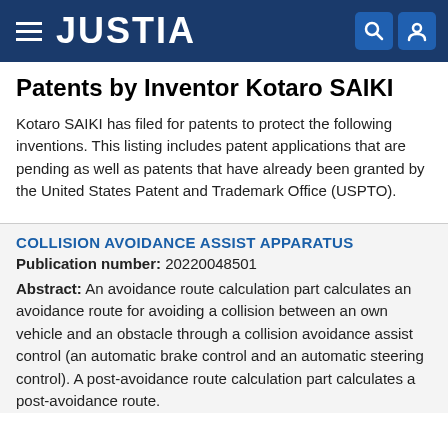JUSTIA
Patents by Inventor Kotaro SAIKI
Kotaro SAIKI has filed for patents to protect the following inventions. This listing includes patent applications that are pending as well as patents that have already been granted by the United States Patent and Trademark Office (USPTO).
COLLISION AVOIDANCE ASSIST APPARATUS
Publication number: 20220048501
Abstract: An avoidance route calculation part calculates an avoidance route for avoiding a collision between an own vehicle and an obstacle through a collision avoidance assist control (an automatic brake control and an automatic steering control). A post-avoidance route calculation part calculates a post-avoidance route.